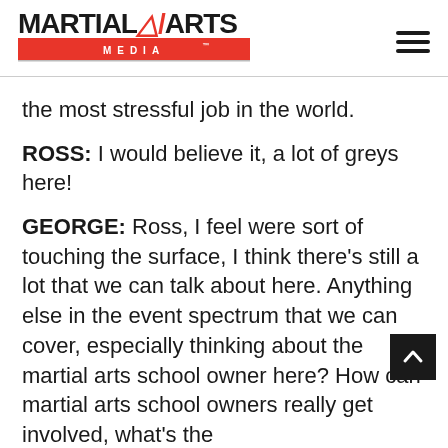MARTIAL ARTS MEDIA™
the most stressful job in the world.
ROSS: I would believe it, a lot of greys here!
GEORGE: Ross, I feel were sort of touching the surface, I think there's still a lot that we can talk about here. Anything else in the event spectrum that we can cover, especially thinking about the martial arts school owner here? How can martial arts school owners really get involved, what's the